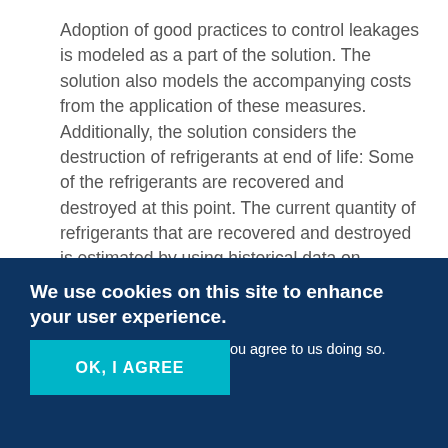Adoption of good practices to control leakages is modeled as a part of the solution. The solution also models the accompanying costs from the application of these measures. Additionally, the solution considers the destruction of refrigerants at end of life: Some of the refrigerants are recovered and destroyed at this point. The current quantity of refrigerants that are recovered and destroyed is estimated by using historical data on equipment retirement rates, recovery efficiency, and destruction efficiency. For 2014, this value is
We use cookies on this site to enhance your user experience.
By clicking the Accept button, you agree to us doing so. Privacy Policy
OK, I AGREE